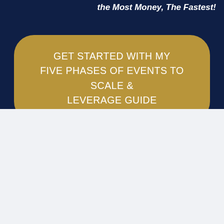the Most Money, The Fastest!
GET STARTED WITH MY FIVE PHASES OF EVENTS TO SCALE & LEVERAGE GUIDE